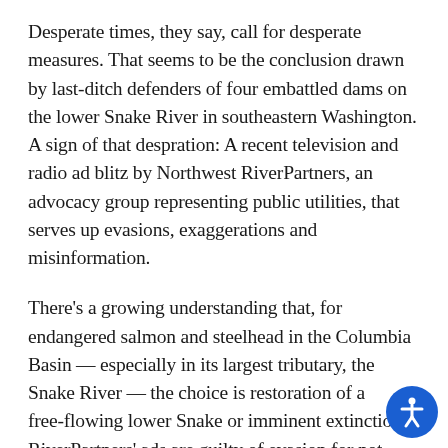Desperate times, they say, call for desperate measures. That seems to be the conclusion drawn by last-ditch defenders of four embattled dams on the lower Snake River in southeastern Washington. A sign of that despration: A recent television and radio ad blitz by Northwest RiverPartners, an advocacy group representing public utilities, that serves up evasions, exaggerations and misinformation.
There's a growing understanding that, for endangered salmon and steelhead in the Columbia Basin — especially in its largest tributary, the Snake River — the choice is restoration of a free-flowing lower Snake or imminent extinction. RiverPartners' ads are guilty of evasion for not even mentioning decades of scientific evidence that supports the need